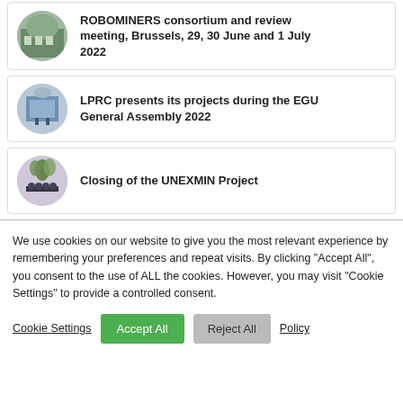ROBOMINERS consortium and review meeting, Brussels, 29, 30 June and 1 July 2022
LPRC presents its projects during the EGU General Assembly 2022
Closing of the UNEXMIN Project
We use cookies on our website to give you the most relevant experience by remembering your preferences and repeat visits. By clicking “Accept All”, you consent to the use of ALL the cookies. However, you may visit "Cookie Settings" to provide a controlled consent.
Cookie Settings | Accept All | Reject All | Policy